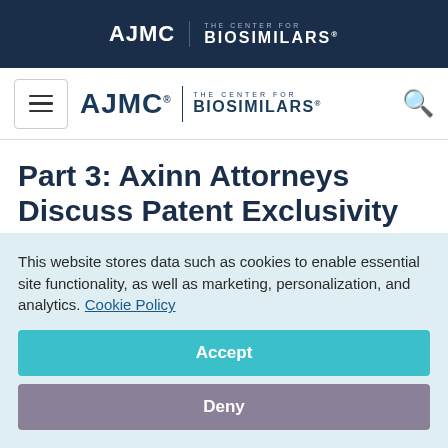AJMC | THE CENTER FOR BIOSIMILARS
[Figure (logo): AJMC The Center for Biosimilars navigation logo with hamburger menu and search icon]
Part 3: Axinn Attorneys Discuss Patent Exclusivity and the BPCIA
May 8, 2020
This website stores data such as cookies to enable essential site functionality, as well as marketing, personalization, and analytics. Cookie Policy
Accept
Deny